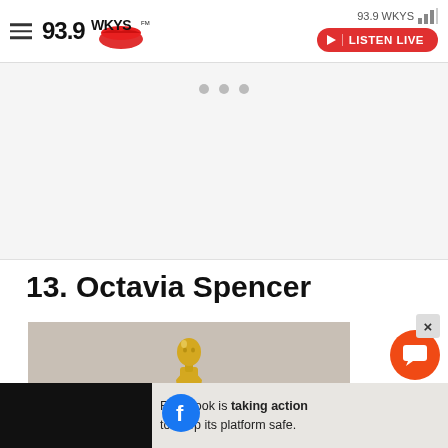93.9 WKYS — LISTEN LIVE
[Figure (other): Advertisement placeholder area with three gray dots indicating loading content]
13. Octavia Spencer
[Figure (photo): Gold Oscar statuette figure photographed against a light pinkish-gray background, cropped to show upper body and head]
Facebook is taking action to keep its platform safe.